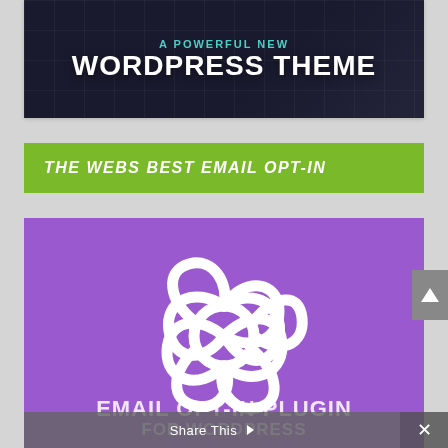[Figure (screenshot): WordPress theme promotional banner with dark background, teal text 'A POWERFUL NEW' and white bold text 'WORDPRESS THEME']
THE WEBS BEST EMAIL OPT-IN
[Figure (screenshot): Purple banner with white Bloom/OptinMonster flower logo and text 'EMAIL OPT-IN PLUGIN FOR WORDPRESS' at the bottom]
Share This